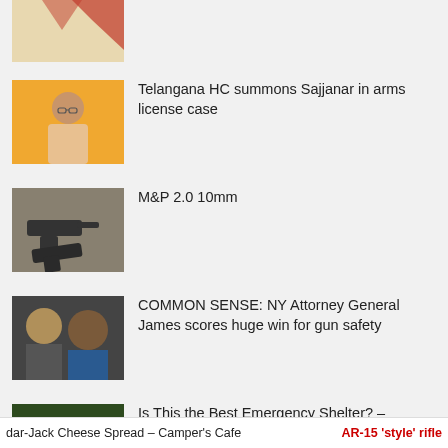[Figure (photo): Partial thumbnail at top, cropped red and beige graphic]
[Figure (photo): Man with glasses in front of orange background]
Telangana HC summons Sajjanar in arms license case
[Figure (photo): Dark handguns on sandy surface]
M&P 2.0 10mm
[Figure (photo): Two people: older man and woman, political context]
COMMON SENSE: NY Attorney General James scores huge win for gun safety
[Figure (photo): Person in forest holding orange survival tarp, text overlay Survival Tarp?]
Is This the Best Emergency Shelter? – AquaQuest Survivor Tarp – Agenda Free Review
dar-Jack Cheese Spread – Camper's Cafe    AR-15 'style' rifle